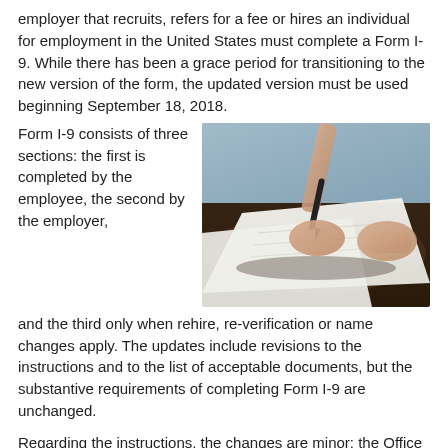employer that recruits, refers for a fee or hires an individual for employment in the United States must complete a Form I-9. While there has been a grace period for transitioning to the new version of the form, the updated version must be used beginning September 18, 2018.
Form I-9 consists of three sections: the first is completed by the employee, the second by the employer, and the third only when rehire, re-verification or name changes apply. The updates include revisions to the instructions and to the list of acceptable documents, but the substantive requirements of completing Form I-9 are unchanged.
[Figure (photo): A person in a light blue shirt signing documents on a dark table, photographed from above showing hands writing with a pen on white papers.]
Regarding the instructions, the changes are minor: the Office of Special Counsel for Immigration-Related Unfair Employment